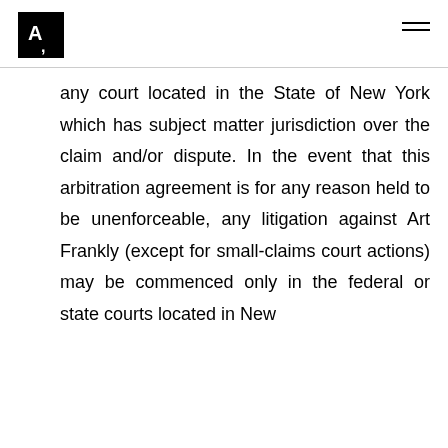Art Frankly logo and navigation
any court located in the State of New York which has subject matter jurisdiction over the claim and/or dispute. In the event that this arbitration agreement is for any reason held to be unenforceable, any litigation against Art Frankly (except for small-claims court actions) may be commenced only in the federal or state courts located in New